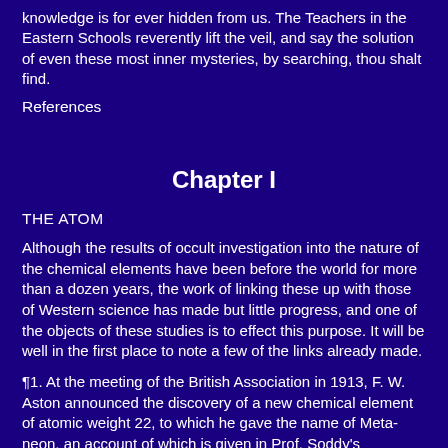knowledge is for ever hidden from us. The Teachers in the Eastern Schools reverently lift the veil, and say the solution of even these most inner mysteries, by searching, thou shalt find.
References
Chapter I
THE ATOM
Although the results of occult investigation into the nature of the chemical elements have been before the world for more than a dozen years, the work of linking these up with those of Western science has made but little progress, and one of the objects of these studies is to effect this purpose. It will be well in the first place to note a few of the links already made.
¶1. At the meeting of the British Association in 1913, F. W. Aston announced the discovery of a new chemical element of atomic weight 22, to which he gave the name of Meta-neon, an account of which is given in Prof. Soddy's